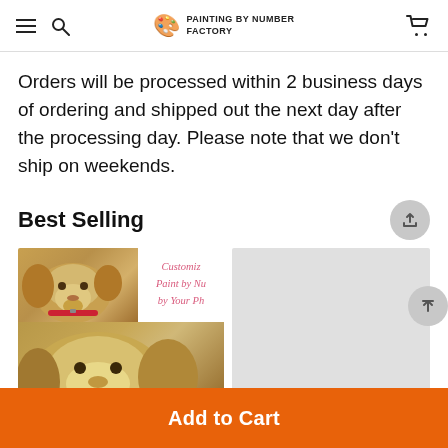PAINTING BY NUMBER FACTORY
Orders will be processed within 2 business days of ordering and shipped out the next day after the processing day. Please note that we don't ship on weekends.
Best Selling
[Figure (photo): Product card showing a golden retriever puppy photo collage with text overlay reading 'Customiz Paint by Nu by Your Ph' in pink italic script, and a second product card showing a light gray placeholder rectangle]
Add to Cart